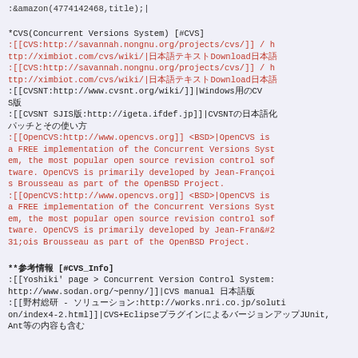:&amazon(4774142468,title);|
*CVS(Concurrent Versions System) [#CVS]
:[[CVS:http://savannah.nongnu.org/projects/cvs/]] / http://ximbiot.com/cvs/wiki/|日本語テキストDownload日本語
:[[CVS:http://savannah.nongnu.org/projects/cvs/]] / http://ximbiot.com/cvs/wiki/|日本語テキストDownload日本語
:[[CVSNT:http://www.cvsnt.org/wiki/]]|Windows用のCVSで
:[[CVSNT SJIS版:http://igeta.ifdef.jp]]|CVSNTの日本語化パッチとその使い方
:[[OpenCVS:http://www.opencvs.org]] <BSD>|OpenCVS is a FREE implementation of the Concurrent Versions System, the most popular open source revision control software. OpenCVS is primarily developed by Jean-François Brousseau as part of the OpenBSD Project.
:[[OpenCVS:http://www.opencvs.org]] <BSD>|OpenCVS is a FREE implementation of the Concurrent Versions System, the most popular open source revision control software. OpenCVS is primarily developed by Jean-Fran&#231;ois Brousseau as part of the OpenBSD Project.
**参考情報 [#CVS_Info]
:[[Yoshiki' page > Concurrent Version Control System:http://www.sodan.org/~penny/]]|CVS manual 日本語版
:[[野村総研 - ソリューション:http://works.nri.co.jp/solution/index4-2.html]]|CVS+EclipseプラグインによるバージョンアップJUnit,Ant等の内容も含む